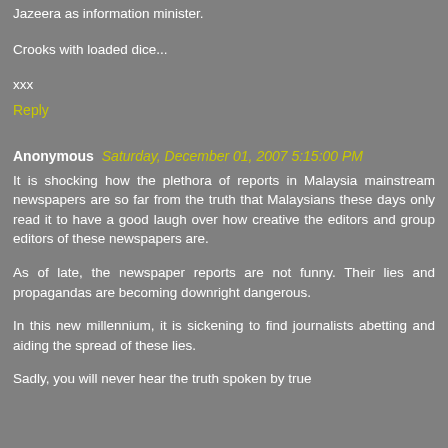Jazeera as information minister.
Crooks with loaded dice...
xxx
Reply
Anonymous Saturday, December 01, 2007 5:15:00 PM
It is shocking how the plethora of reports in Malaysia mainstream newspapers are so far from the truth that Malaysians these days only read it to have a good laugh over how creative the editors and group editors of these newspapers are.
As of late, the newspaper reports are not funny. Their lies and propagandas are becoming downright dangerous.
In this new millennium, it is sickening to find journalists abetting and aiding the spread of these lies.
Sadly, you will never hear the truth spoken by true